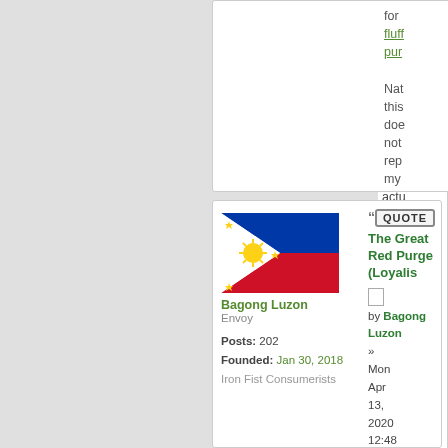for fluff pur
Nat this doe not rep my actu beli
[Figure (illustration): Philippines flag - blue and red horizontal bands with white triangle on left containing yellow sun and stars]
Bagong Luzon
Envoy

Posts: 202
Founded: Jan 30, 2018
Iron Fist Consumerists
QUOTE
The Great Red Purge (Loyalis
by Bagong Luzon
» Mon Apr 13, 2020 12:48 am